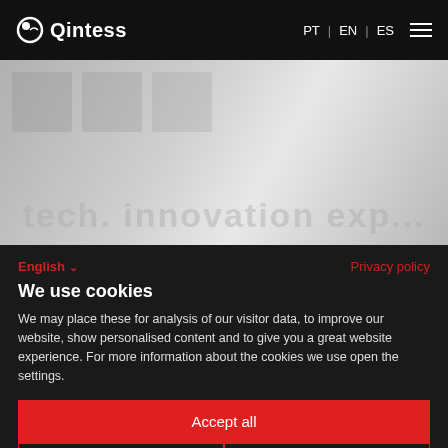Qintess — PT | EN | ES
[Figure (screenshot): Website hero banner with greyed-out background image and faded large text overlay]
English ∨    Privacy policy
We use cookies
We may place these for analysis of our visitor data, to improve our website, show personalised content and to give you a great website experience. For more information about the cookies we use open the settings.
Accept all
Deny
No, adjust